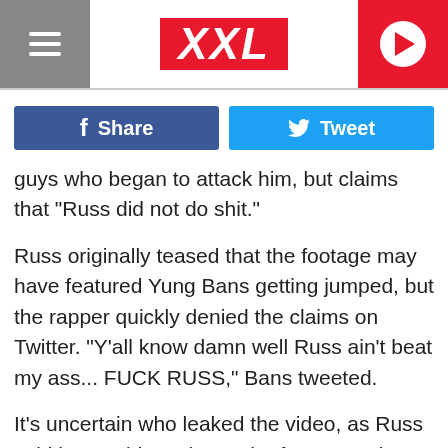XXL
Share
Tweet
guys who began to attack him, but claims that "Russ did not do shit."
Russ originally teased that the footage may have featured Yung Bans getting jumped, but the rapper quickly denied the claims on Twitter. "Y'all know damn well Russ ain't beat my ass... FUCK RUSS," Bans tweeted.
It's uncertain who leaked the video, as Russ said he wouldn't release the footage unless Smokepurpp responded to him. "If they respond, they know what time it is," the rapper said. "We got video too. I'll leak the video of you getting your ass beat. Don't make me play the internet game, and have